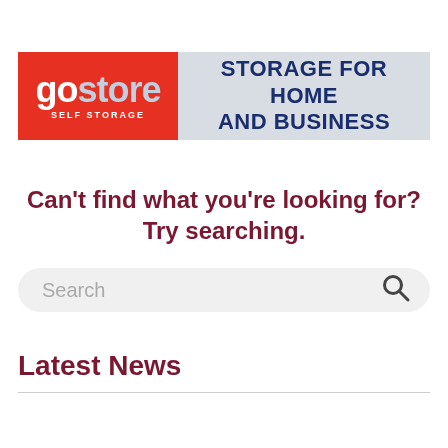[Figure (logo): GoStore Self Storage banner ad with logo on red background and 'STORAGE FOR HOME AND BUSINESS' text on grey background]
Can't find what you're looking for? Try searching.
[Figure (other): Search input bar with placeholder text 'Search' and magnifying glass icon]
Latest News